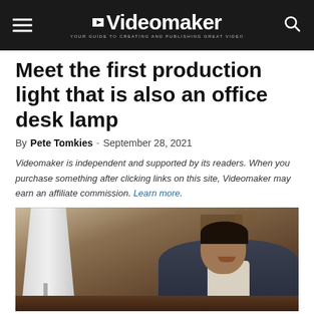Videomaker — YOUR GUIDE TO CREATING AND PUBLISHING GREAT VIDEO
Meet the first production light that is also an office desk lamp
By Pete Tomkies - September 28, 2021
Videomaker is independent and supported by its readers. When you purchase something after clicking links on this site, Videomaker may earn an affiliate commission. Learn more.
[Figure (photo): A man in a suit smiling while sitting at a desk, with a large flat panel light/lamp visible to the left, in an office or home setting]